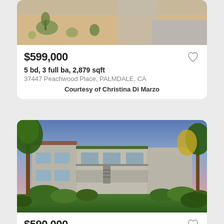[Figure (photo): Aerial/street view of a desert landscaped property with sandy ground and sparse plants.]
$599,000
5 bd, 3 full ba, 2,879 sqft
37447 Peachwood Place, PALMDALE, CA
Courtesy of Christina Di Marzo
[Figure (photo): Two-story apartment/condo building at dusk with lush green landscaping, trees, and a walkway leading to the entrance.]
$590,000